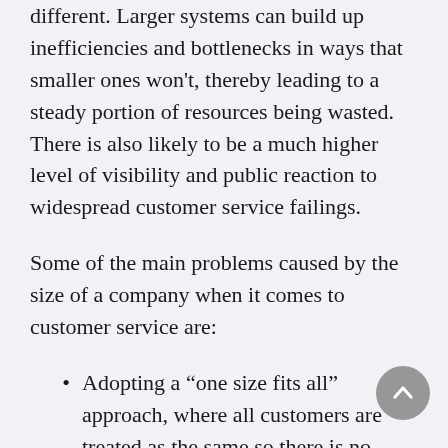different. Larger systems can build up inefficiencies and bottlenecks in ways that smaller ones won't, thereby leading to a steady portion of resources being wasted. There is also likely to be a much higher level of visibility and public reaction to widespread customer service failings.
Some of the main problems caused by the size of a company when it comes to customer service are:
Adopting a “one size fits all” approach, where all customers are treated as the same so there is no variance in the